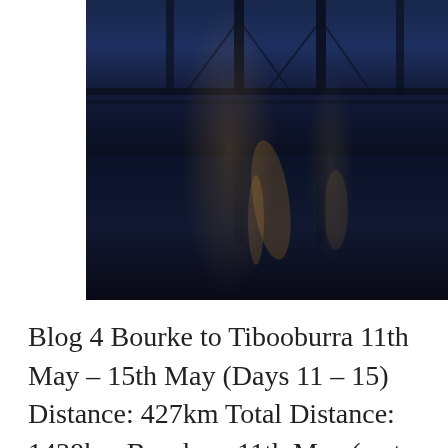[Figure (photo): Night photo of a bridge reflected in a river, with orange light streaks on dark blue water]
Blog 4 Bourke to Tibooburra 11th May – 15th May (Days 11 – 15) Distance: 427km Total Distance: 1438km Bourke – 11th May (rest day) Bourke evolved as a major inland river port town, set on the Darling River, that flows from the junction of the Barwon and Culgoa rivers, 3370km to where it enters [...]
Filed Under: Breaking the Cycle in Australia, Blog
Tagged With: Bourke, Wanaaring